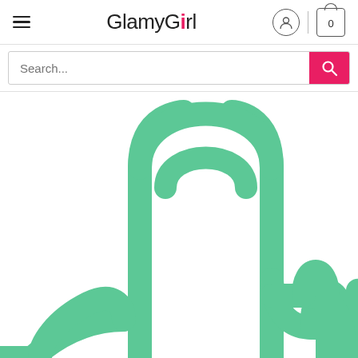GlamyGirl — navigation header with hamburger menu, logo, user icon, and cart icon (0 items)
Search...
[Figure (illustration): Large green outlined hand/finger pointer icon (tap/click gesture) on white background, cropped — showing index finger pointing up with other fingers curled, rendered in mint green stroke style]